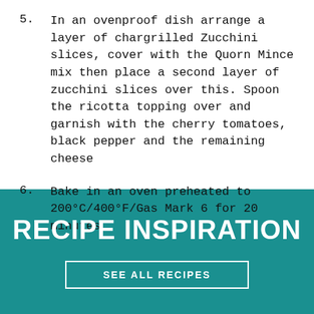5. In an ovenproof dish arrange a layer of chargrilled Zucchini slices, cover with the Quorn Mince mix then place a second layer of zucchini slices over this. Spoon the ricotta topping over and garnish with the cherry tomatoes, black pepper and the remaining cheese
6. Bake in an oven preheated to 200°C/400°F/Gas Mark 6 for 20 minutes
RECIPE INSPIRATION
SEE ALL RECIPES